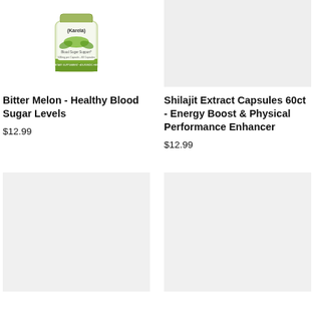[Figure (photo): Bitter Melon (Karela) supplement bottle - Blood Sugar Support, 500mg per Capsule, 60 Capsules, Dietary Supplement, Ayurvedic Herb]
Bitter Melon - Healthy Blood Sugar Levels
$12.99
[Figure (photo): Shilajit Extract Capsules product image (gray placeholder)]
Shilajit Extract Capsules 60ct - Energy Boost & Physical Performance Enhancer
$12.99
[Figure (photo): Product image placeholder (gray)]
[Figure (photo): Product image placeholder (gray)]